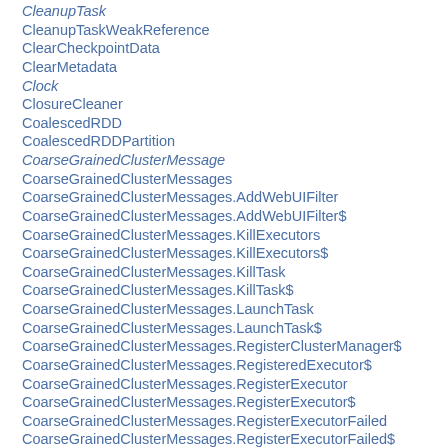CleanupTask
CleanupTaskWeakReference
ClearCheckpointData
ClearMetadata
Clock
ClosureCleaner
CoalescedRDD
CoalescedRDDPartition
CoarseGrainedClusterMessage
CoarseGrainedClusterMessages
CoarseGrainedClusterMessages.AddWebUIFilter
CoarseGrainedClusterMessages.AddWebUIFilter$
CoarseGrainedClusterMessages.KillExecutors
CoarseGrainedClusterMessages.KillExecutors$
CoarseGrainedClusterMessages.KillTask
CoarseGrainedClusterMessages.KillTask$
CoarseGrainedClusterMessages.LaunchTask
CoarseGrainedClusterMessages.LaunchTask$
CoarseGrainedClusterMessages.RegisterClusterManager$
CoarseGrainedClusterMessages.RegisteredExecutor$
CoarseGrainedClusterMessages.RegisterExecutor
CoarseGrainedClusterMessages.RegisterExecutor$
CoarseGrainedClusterMessages.RegisterExecutorFailed
CoarseGrainedClusterMessages.RegisterExecutorFailed$
CoarseGrainedClusterMessages.RemoveExecutor
CoarseGrainedClusterMessages.RemoveExecutor$
CoarseGrainedClusterMessages.RequestExecutors
CoarseGrainedClusterMessages.RequestExecutors$
CoarseGrainedClusterMessages.RetrieveSparkProps$
CoarseGrainedClusterMessages.ReviveOffers$
CoarseGrainedClusterMessages.StatusUpdate
CoarseGrainedClusterMessages.StatusUpdate$